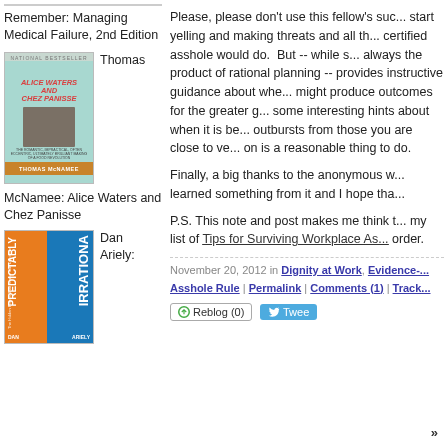Remember: Managing Medical Failure, 2nd Edition
[Figure (photo): Book cover of 'Alice Waters and Chez Panisse' by Thomas McNamee, teal cover with red title text and author photo]
Thomas
McNamee: Alice Waters and Chez Panisse
[Figure (photo): Book cover of 'Predictably Irrational' by Dan Ariely, orange and blue cover]
Dan Ariely:
Please, please don't use this fellow's suc... start yelling and making threats and all th... certified asshole would do. But -- while s... always the product of rational planning -- provides instructive guidance about whe... might produce outcomes for the greater g... some interesting hints about when it is be... outbursts from those you are close to ve... on is a reasonable thing to do.
Finally, a big thanks to the anonymous w... learned something from it and I hope tha...
P.S. This note and post makes me think t... my list of Tips for Surviving Workplace As... order.
November 20, 2012 in Dignity at Work, Evidence-... Asshole Rule | Permalink | Comments (1) | Track...
Reblog (0)  Tweet
»